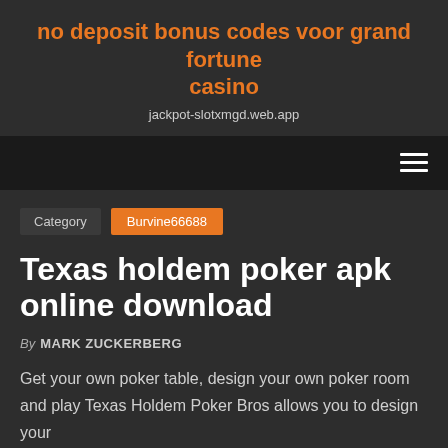no deposit bonus codes voor grand fortune casino
jackpot-slotxmgd.web.app
Category  Burvine66688
Texas holdem poker apk online download
By MARK ZUCKERBERG
Get your own poker table, design your own poker room and play Texas Holdem Poker Bros allows you to design your